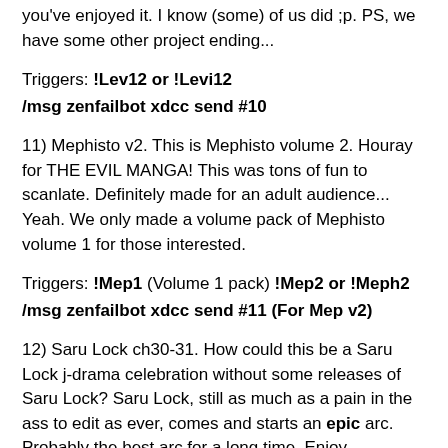you've enjoyed it. I know (some) of us did ;p. PS, we have some other project ending...
Triggers: !Lev12 or !Levi12
/msg zenfailbot xdcc send #10
11) Mephisto v2. This is Mephisto volume 2. Houray for THE EVIL MANGA! This was tons of fun to scanlate. Definitely made for an adult audience... Yeah. We only made a volume pack of Mephisto volume 1 for those interested.
Triggers: !Mep1 (Volume 1 pack) !Mep2 or !Meph2
/msg zenfailbot xdcc send #11 (For Mep v2)
12) Saru Lock ch30-31. How could this be a Saru Lock j-drama celebration without some releases of Saru Lock? Saru Lock, still as much as a pain in the ass to edit as ever, comes and starts an epic arc. Probably the best arc for a long time. Enjoy.
Triggers: !Saru30 !Saru31 or !Lock30 !Lock31